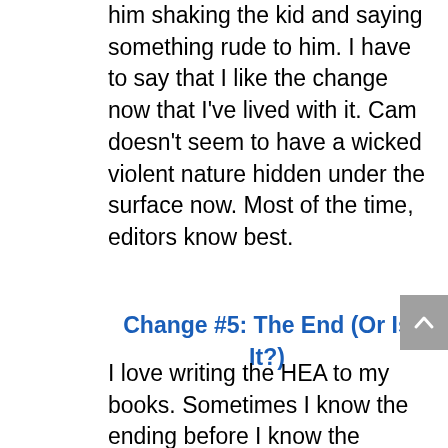him shaking the kid and saying something rude to him. I have to say that I like the change now that I've lived with it. Cam doesn't seem to have a wicked violent nature hidden under the surface now. Most of the time, editors know best.
Change #5: The End (Or Is It?)
I love writing the HEA to my books. Sometimes I know the ending before I know the beginning, if that makes any sense. In Zone of Action, I wanted an